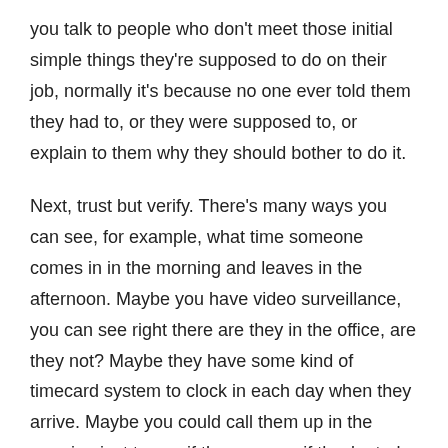you talk to people who don't meet those initial simple things they're supposed to do on their job, normally it's because no one ever told them they had to, or they were supposed to, or explain to them why they should bother to do it.
Next, trust but verify. There's many ways you can see, for example, what time someone comes in in the morning and leaves in the afternoon. Maybe you have video surveillance, you can see right there are they in the office, are they not? Maybe they have some kind of timecard system to clock in each day when they arrive. Maybe you could call them up in the morning just to see if they answer if they're truly there. But don't just